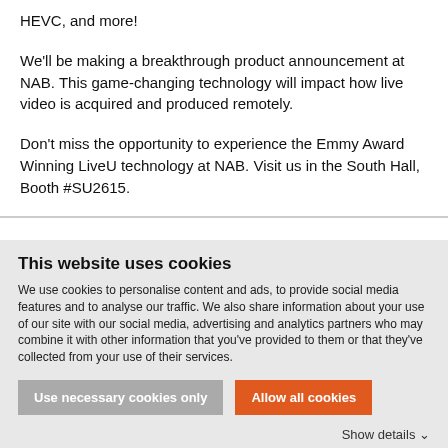HEVC, and more!
We'll be making a breakthrough product announcement at NAB. This game-changing technology will impact how live video is acquired and produced remotely.
Don't miss the opportunity to experience the Emmy Award Winning LiveU technology at NAB. Visit us in the South Hall, Booth #SU2615.
This website uses cookies
We use cookies to personalise content and ads, to provide social media features and to analyse our traffic. We also share information about your use of our site with our social media, advertising and analytics partners who may combine it with other information that you've provided to them or that they've collected from your use of their services.
Use necessary cookies only
Allow all cookies
Show details